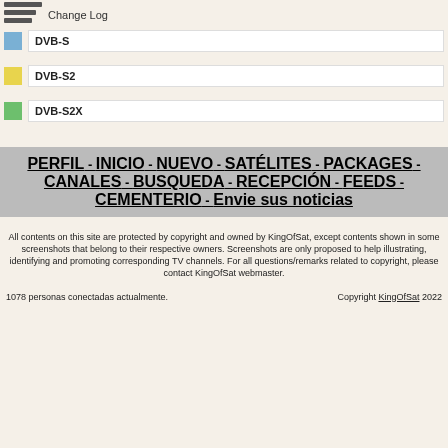Change Log
DVB-S (blue)
DVB-S2 (yellow)
DVB-S2X (green)
PERFIL - INICIO - NUEVO - SATÉLITES - PACKAGES - CANALES - BUSQUEDA - RECEPCIÓN - FEEDS - CEMENTERIO - Envie sus noticias
All contents on this site are protected by copyright and owned by KingOfSat, except contents shown in some screenshots that belong to their respective owners. Screenshots are only proposed to help illustrating, identifying and promoting corresponding TV channels. For all questions/remarks related to copyright, please contact KingOfSat webmaster.
1078 personas conectadas actualmente. Copyright KingOfSat 2022